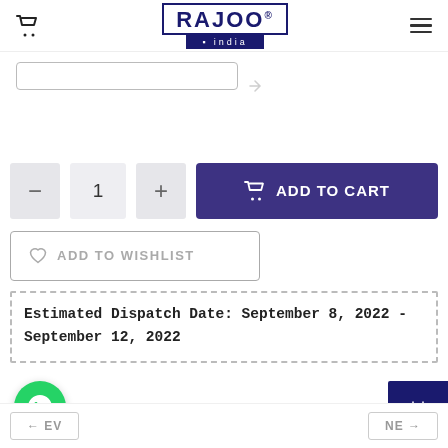RAJOO .india — Navigation header with cart icon and hamburger menu
[Figure (screenshot): Search/filter bar with border]
[Figure (screenshot): Quantity selector with minus and plus buttons showing value 1, and Add to Cart button in dark purple]
[Figure (screenshot): Add to Wishlist button with heart icon and dashed border]
Estimated Dispatch Date: September 8, 2022 - September 12, 2022
[Figure (screenshot): WhatsApp green circular chat button at bottom left, dark navy calendar button at bottom right, and Prev/Next navigation buttons]